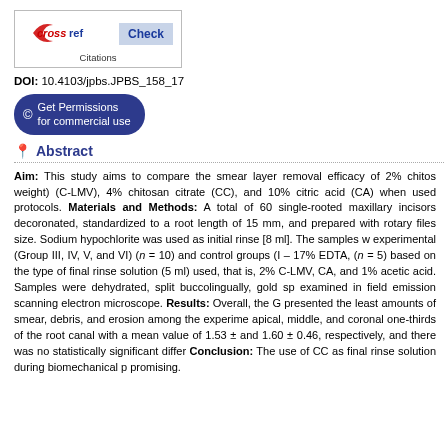[Figure (logo): CrossRef Citations Check button logo]
DOI: 10.4103/jpbs.JPBS_158_17
Get Permissions for commercial use
Abstract
Aim: This study aims to compare the smear layer removal efficacy of 2% chitos weight) (C-LMV), 4% chitosan citrate (CC), and 10% citric acid (CA) when used protocols. Materials and Methods: A total of 60 single-rooted maxillary incisors decoronated, standardized to a root length of 15 mm, and prepared with rotary files size. Sodium hypochlorite was used as initial rinse [8 ml]. The samples w experimental (Group III, IV, V, and VI) (n = 10) and control groups (I – 17% EDTA, (n = 5) based on the type of final rinse solution (5 ml) used, that is, 2% C-LMV, CA, and 1% acetic acid. Samples were dehydrated, split buccolingually, gold sp examined in field emission scanning electron microscope. Results: Overall, the G presented the least amounts of smear, debris, and erosion among the experime apical, middle, and coronal one-thirds of the root canal with a mean value of 1.53 ± and 1.60 ± 0.46, respectively, and there was no statistically significant differ Conclusion: The use of CC as final rinse solution during biomechanical p promising.